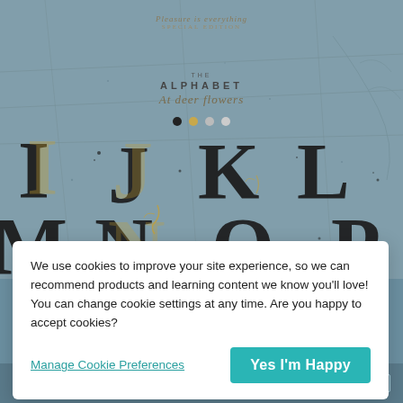[Figure (illustration): Decorative alphabet product showcase image featuring large ornate letters I J K L M N O P with gold botanical flourishes on light textured background, with 'The Alphabet' heading text, a script subtitle, navigation dots, and a map-like background texture.]
We use cookies to improve your site experience, so we can recommend products and learning content we know you'll love! You can change cookie settings at any time. Are you happy to accept cookies?
Manage Cookie Preferences
Yes I'm Happy
Design Alphabets (01-24 JV)  TOP